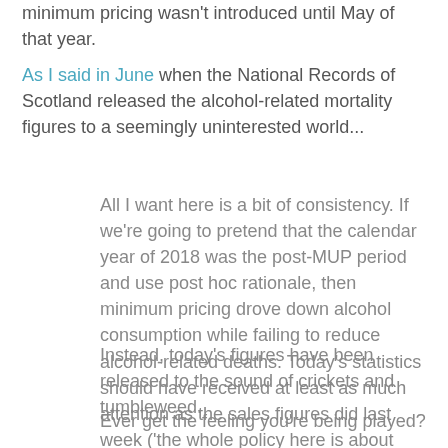minimum pricing wasn't introduced until May of that year.
As I said in June when the National Records of Scotland released the alcohol-related mortality figures to a seemingly uninterested world...
All I want here is a bit of consistency. If we're going to pretend that the calendar year of 2018 was the post-MUP period and use post hoc rationale, then minimum pricing drove down alcohol consumption while failing to reduce alcohol-related deaths. Today's statistics should have received at least as much attention as the sales figures did last week ('the whole policy here is about reducing alcohol related harm', after all).
Instead, today's figures have been released to the sound of crickets and tumbleweed.
Ever get the feeling you're being played?